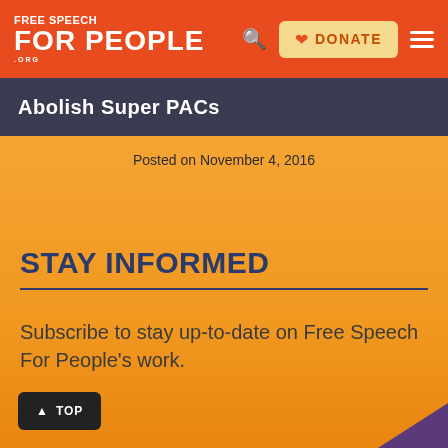Free Speech For People .org
Abolish Super PACs
Posted on November 4, 2016
STAY INFORMED
Subscribe to stay up-to-date on Free Speech For People's work.
▲ TOP